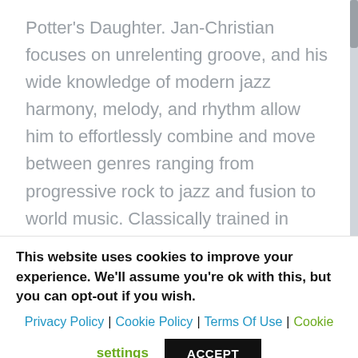Potter's Daughter. Jan-Christian focuses on unrelenting groove, and his wide knowledge of modern jazz harmony, melody, and rhythm allow him to effortlessly combine and move between genres ranging from progressive rock to jazz and fusion to world music. Classically trained in Switzerland (where he was born and raised), his compositions build upon poignant melodies
This website uses cookies to improve your experience. We'll assume you're ok with this, but you can opt-out if you wish.
Privacy Policy | Cookie Policy | Terms Of Use | Cookie settings
ACCEPT